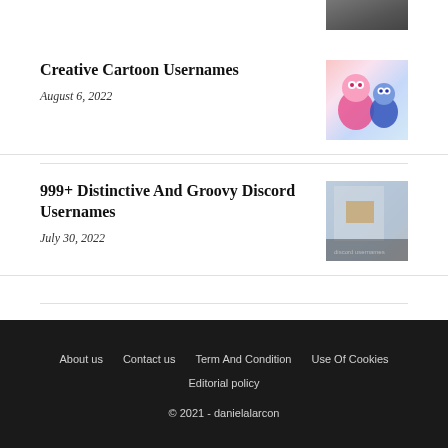[Figure (photo): Partial image at top right corner, dark/outdoor scene]
Creative Cartoon Usernames
August 6, 2022
[Figure (illustration): Cartoon characters illustration with colorful cartoon figures]
999+ Distinctive And Groovy Discord Usernames
July 30, 2022
[Figure (screenshot): Discord usernames screenshot, faded blue-gray office/server image]
About us   Contact us   Term And Condition   Use Of Cookies   Editorial policy   © 2021 - danielalarcon